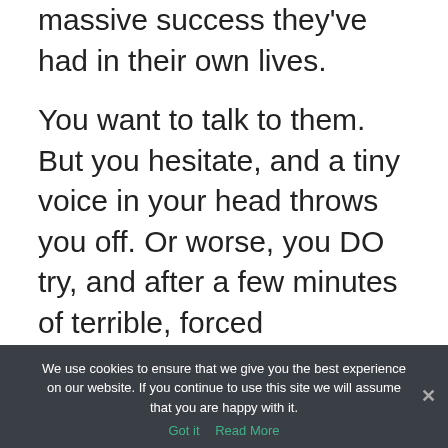massive success they've had in their own lives.
You want to talk to them. But you hesitate, and a tiny voice in your head throws you off. Or worse, you DO try, and after a few minutes of terrible, forced conversation, they excuse themselves to get away.
If you've ever been at a conference or a networking event, seen someone successful you wanted to talk to, and
We use cookies to ensure that we give you the best experience on our website. If you continue to use this site we will assume that you are happy with it. Got it  Read More